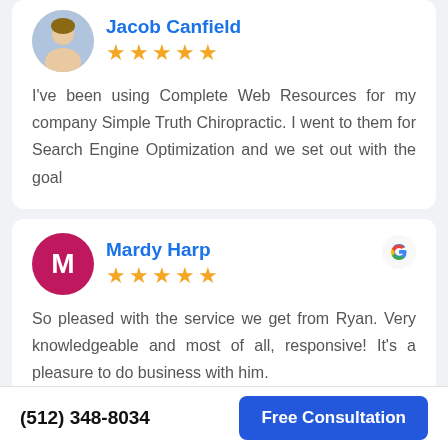Jacob Canfield
★★★★★
I've been using Complete Web Resources for my company Simple Truth Chiropractic. I went to them for Search Engine Optimization and we set out with the goal
Mardy Harp
★★★★★
So pleased with the service we get from Ryan. Very knowledgeable and most of all, responsive! It's a pleasure to do business with him.
(512) 348-8034
Free Consultation